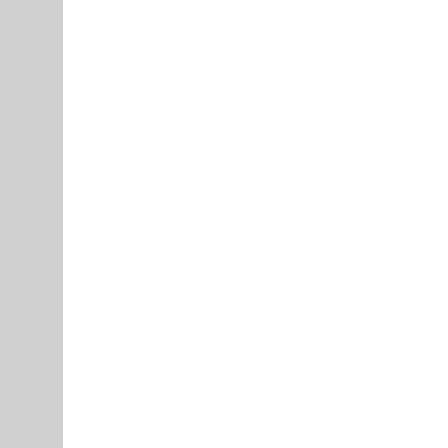reading further you should read the section above on Related Topics.
|  |  |
| --- | --- |
| Q. | Do secon... CHM?
I can only... is a differ... |
| A. | Always sp... even if the... same.

Example:

I w... ma... ma... as... to '...

<OB... olec... clas... |